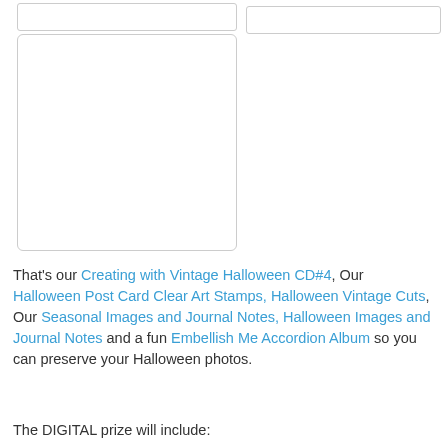[Figure (photo): Top-left image placeholder box (white/blank)]
[Figure (photo): Top-right image placeholder box (white/blank)]
[Figure (photo): Large left image placeholder box (white/blank)]
That's our Creating with Vintage Halloween CD#4, Our Halloween Post Card Clear Art Stamps, Halloween Vintage Cuts, Our Seasonal Images and Journal Notes, Halloween Images and Journal Notes and a fun Embellish Me Accordion Album so you can preserve your Halloween photos.
The DIGITAL prize will include: